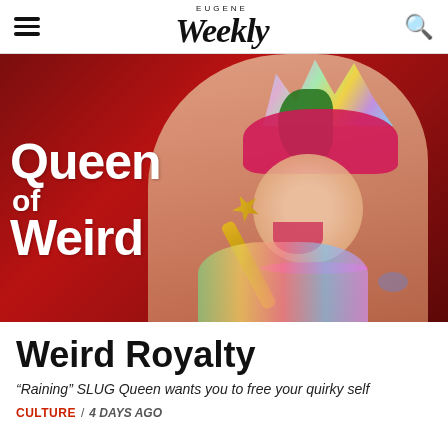Eugene Weekly
[Figure (photo): Person in colorful costume with iridescent crown, green hair, pink headwrap, holding a gold scepter/trophy against a red background. White bold text overlay reads 'Queen of Weird'.]
Weird Royalty
“Raining” SLUG Queen wants you to free your quirky self
CULTURE / 4 DAYS AGO